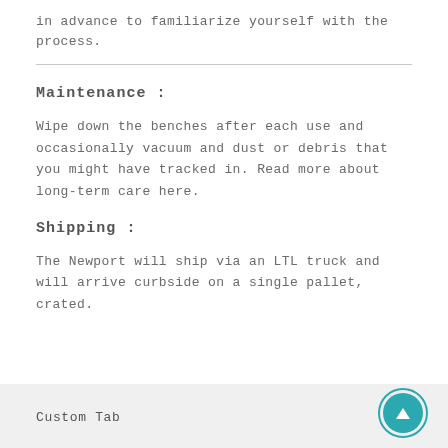in advance to familiarize yourself with the process.
Maintenance :
Wipe down the benches after each use and occasionally vacuum and dust or debris that you might have tracked in. Read more about long-term care here.
Shipping :
The Newport will ship via an LTL truck and will arrive curbside on a single pallet, crated.
Custom Tab